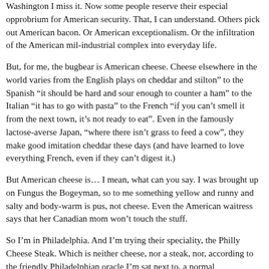Washington I miss it. Now some people reserve their especial opprobrium for American security. That, I can understand. Others pick out American bacon. Or American exceptionalism. Or the infiltration of the American mil-industrial complex into everyday life.
But, for me, the bugbear is American cheese. Cheese elsewhere in the world varies from the English plays on cheddar and stilton" to the Spanish "it should be hard and sour enough to counter a ham" to the Italian "it has to go with pasta" to the French "if you can’t smell it from the next town, it’s not ready to eat". Even in the famously lactose-averse Japan, “where there isn’t grass to feed a cow”, they make good imitation cheddar these days (and have learned to love everything French, even if they can’t digest it.)
But American cheese is… I mean, what can you say. I was brought up on Fungus the Bogeyman, so to me something yellow and runny and salty and body-warm is pus, not cheese. Even the American waitress says that her Canadian mom won’t touch the stuff.
So I’m in Philadelphia. And I’m trying their speciality, the Philly Cheese Steak. Which is neither cheese, nor a steak, nor, according to the friendly Philadelphian oracle I’m sat next to, a normal Philadelphian speciality. He recommends I have a burger instead. But I always have to